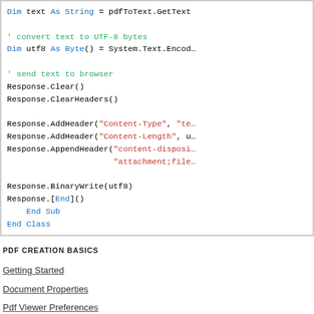[Figure (screenshot): Code block showing VB.NET code snippet with syntax highlighting. Blue keywords (Dim, End Sub, End Class), green comments, red strings. Code includes text conversion, response headers, and binary write operations.]
PDF CREATION BASICS
Getting Started
Document Properties
Pdf Viewer Preferences
Pdf Page Settings
Pdf Security Settings
Pdf Elements Rendering Positions